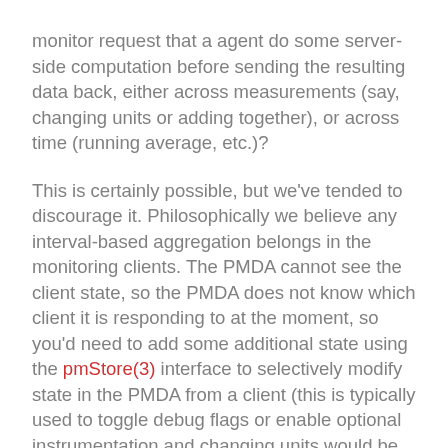monitor request that a agent do some server-side computation before sending the resulting data back, either across measurements (say, changing units or adding together), or across time (running average, etc.)?
This is certainly possible, but we've tended to discourage it. Philosophically we believe any interval-based aggregation belongs in the monitoring clients. The PMDA cannot see the client state, so the PMDA does not know which client it is responding to at the moment, so you'd need to add some additional state using the pmStore(3) interface to selectively modify state in the PMDA from a client (this is typically used to toggle debug flags or enable optional instrumentation and changing units would be in this category).